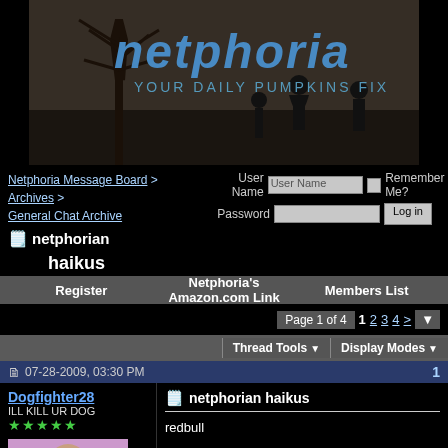[Figure (illustration): Netphoria website banner with dark silhouette of figures under a bare tree. Blue stylized text 'netphoria' and 'YOUR DAILY PUMPKINS FIX' beneath.]
Netphoria Message Board > Archives > General Chat Archive
netphorian haikus
User Name | Password | Remember Me? | Log in
Register   Netphoria's Amazon.com Link   Members List
Page 1 of 4   1 2 3 4 >
Thread Tools   Display Modes
07-28-2009, 03:30 PM   1
Dogfighter28
ILL KILL UR DOG
★★★★★
netphorian haikus

redbull

pale epidermis
cock gobbling mud race girlfriend
big and is coming